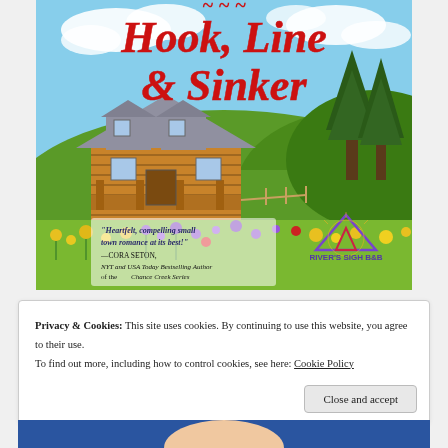[Figure (illustration): Book cover for 'Hook, Line & Sinker' showing a log cabin lodge against a green hillside with wildflowers, blue sky with clouds. Red script title text. Blurb quote from Cora Seton. River's Sigh B&B logo in bottom right.]
Privacy & Cookies: This site uses cookies. By continuing to use this website, you agree to their use.
To find out more, including how to control cookies, see here: Cookie Policy
Close and accept
[Figure (photo): Partial view of a person (woman) at the bottom of the page, cropped.]